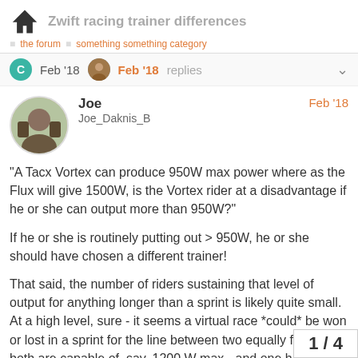Zwift racing trainer differences
Feb '18  Feb '18  replies
Joe
Joe_Daknis_B
Feb '18
“A Tacx Vortex can produce 950W max power where as the Flux will give 1500W, is the Vortex rider at a disadvantage if he or she can output more than 950W?”

If he or she is routinely putting out > 950W, he or she should have chosen a different trainer!

That said, the number of riders sustaining that level of output for anything longer than a sprint is likely quite small.  At a high level, sure - it seems a virtual race *could* be won or lost in a sprint for the line between two equally fit riders if both are capable of, say, 1200 W max - and one has a trainer good for only 950W while the other tops out at 1500... number of instances where this happens is
1 / 4